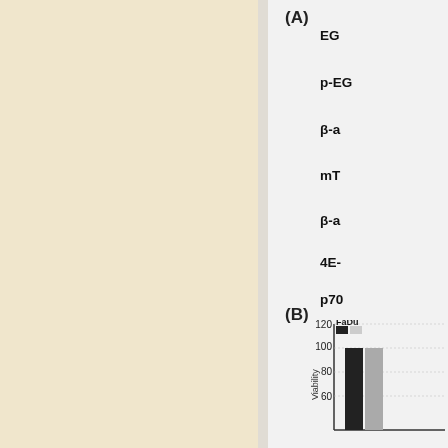[Figure (photo): Western blot protein bands panel A - left warm beige/cream colored panel showing protein bands]
(A)
EG
p-EG
β-a
mT
β-a
4E-
p70
β-a
(B)
[Figure (bar-chart): FaDu]